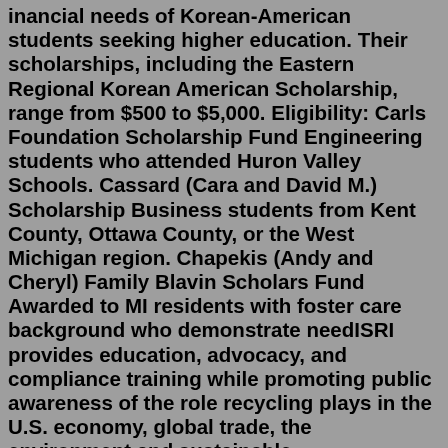inancial needs of Korean-American students seeking higher education. Their scholarships, including the Eastern Regional Korean American Scholarship, range from $500 to $5,000. Eligibility: Carls Foundation Scholarship Fund Engineering students who attended Huron Valley Schools. Cassard (Cara and David M.) Scholarship Business students from Kent County, Ottawa County, or the West Michigan region. Chapekis (Andy and Cheryl) Family Blavin Scholars Fund Awarded to MI residents with foster care background who demonstrate needISRI provides education, advocacy, and compliance training while promoting public awareness of the role recycling plays in the U.S. economy, global trade, the environment and sustainable development.Our Finalist Selection Committee selected 189 students from 126 institutions to interview with the Foundation's Regional Review Panels between March 1 and April 4. The complete listing of the 2022 Truman Scholarship Finalists can be found in our News section. In 2022, we selected 58 outstanding